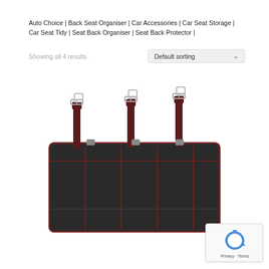Auto Choice | Back Seat Organiser | Car Accessories | Car Seat Storage | Car Seat Tidy | Seat Back Organiser | Seat Back Protector |
Showing all 4 results
Default sorting
[Figure (photo): Black car back seat organiser with multiple pockets and three hanging straps with metal buckles, trimmed in dark red/maroon stitching, photographed on white background.]
[Figure (logo): reCAPTCHA badge with blue recycling arrow icon and 'Privacy - Terms' text]